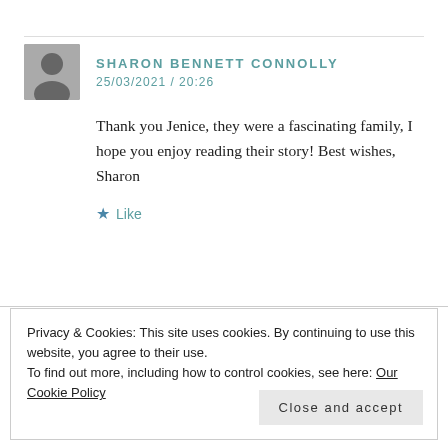SHARON BENNETT CONNOLLY
25/03/2021 / 20:26
Thank you Jenice, they were a fascinating family, I hope you enjoy reading their story! Best wishes, Sharon
★ Like
JEAN SETERING
Privacy & Cookies: This site uses cookies. By continuing to use this website, you agree to their use.
To find out more, including how to control cookies, see here: Our Cookie Policy
Close and accept